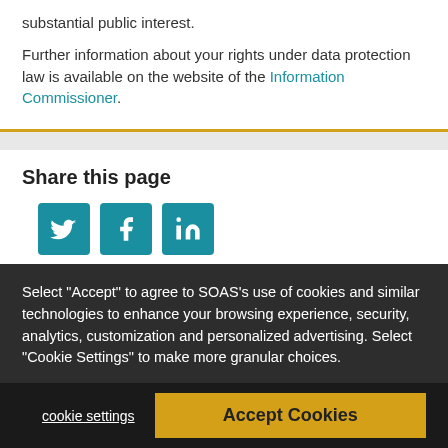substantial public interest. Further information about your rights under data protection law is available on the website of the Information Commissioner.
Share this page
[Figure (other): Social media share icons: Twitter, Facebook, LinkedIn (teal square buttons)]
Select "Accept" to agree to SOAS's use of cookies and similar technologies to enhance your browsing experience, security, analytics, customization and personalized advertising. Select "Cookie Settings" to make more granular choices.